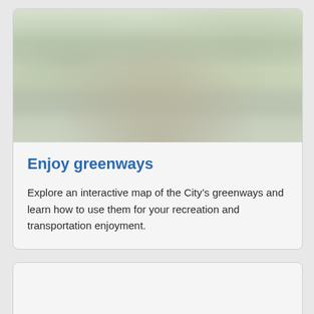[Figure (photo): Faded/washed-out photograph of a wooded nature trail with stone steps or rock path surrounded by green trees and foliage]
Enjoy greenways
Explore an interactive map of the City's greenways and learn how to use them for your recreation and transportation enjoyment.